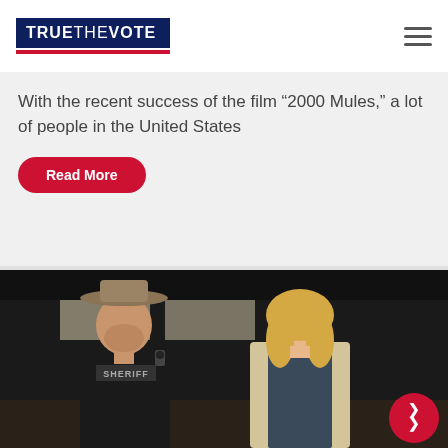[Figure (logo): True The Vote logo — dark navy rectangle with white bold text 'TRUETHEVOTE' and a red underline bar]
With the recent success of the film “2000 Mules,” a lot of people in the United States
Read More
[Figure (photo): A man wearing a cowboy hat and a sheriff tactical vest stands next to a blonde woman in a beige blazer, photographed inside a dark industrial building.]